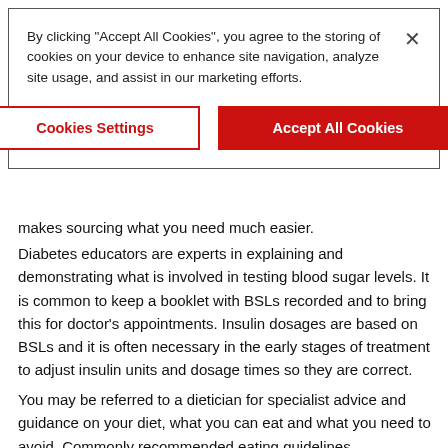[Figure (screenshot): Cookie consent banner with text 'By clicking "Accept All Cookies", you agree to the storing of cookies on your device to enhance site navigation, analyze site usage, and assist in our marketing efforts.' with a close X button, and two buttons: 'Cookies Settings' (outlined red) and 'Accept All Cookies' (filled red).]
makes sourcing what you need much easier.
Diabetes educators are experts in explaining and demonstrating what is involved in testing blood sugar levels. It is common to keep a booklet with BSLs recorded and to bring this for doctor's appointments. Insulin dosages are based on BSLs and it is often necessary in the early stages of treatment to adjust insulin units and dosage times so they are correct.
You may be referred to a dietician for specialist advice and guidance on your diet, what you can eat and what you need to avoid. Commonly recommended eating guidelines